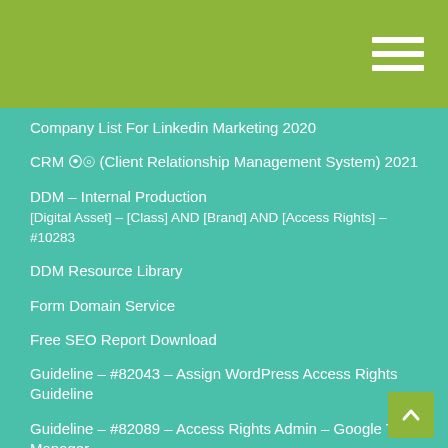Company List For Linkedin Marketing 2020
CRM 소개 (Client Relationship Management System) 2021
DDM – Internal Production
[Digital Asset] – [Class] AND [Brand] AND [Access Rights] – #10283
DDM Resource Library
Form Domain Service
Free SEO Report Download
Guideline – #82043 – Assign WordPress Access Rights Guideline
Guideline – #82089 – Access Rights Admin – Google Tag Manager
Guideline – #82301 – Assign Facebook Business Manager